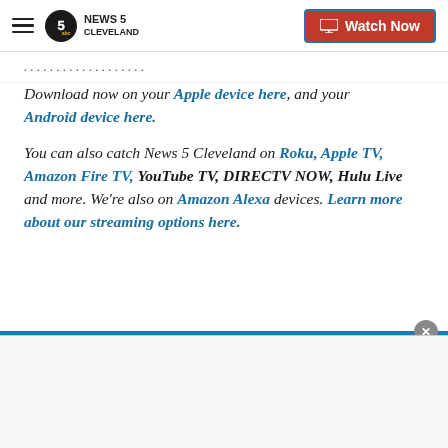NEWS 5 CLEVELAND | Watch Now
Download now on your Apple device here, and your Android device here.
You can also catch News 5 Cleveland on Roku, Apple TV, Amazon Fire TV, YouTube TV, DIRECTV NOW, Hulu Live and more. We're also on Amazon Alexa devices. Learn more about our streaming options here.
Copyright 2020 Scripps Media, Inc. All rights reserved. This material may not be published, broadcast, rewritten, or redistributed.